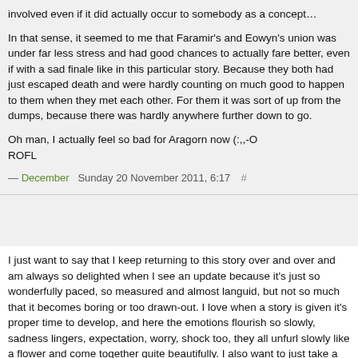involved even if it did actually occur to somebody as a concept…
In that sense, it seemed to me that Faramir's and Eowyn's union was under far less stress and had good chances to actually fare better, even if with a sad finale like in this particular story. Because they both had just escaped death and were hardly counting on much good to happen to them when they met each other. For them it was sort of up from the dumps, because there was hardly anywhere further down to go.
Oh man, I actually feel so bad for Aragorn now (:,,-O
ROFL
— December   Sunday 20 November 2011, 6:17   #
I just want to say that I keep returning to this story over and over and am always so delighted when I see an update because it's just so wonderfully paced, so measured and almost languid, but not so much that it becomes boring or too drawn-out. I love when a story is given it's proper time to develop, and here the emotions flourish so slowly, sadness lingers, expectation, worry, shock too, they all unfurl slowly like a flower and come together quite beautifully. I also want to just take a moment to compliment you again on your wonderful phrasing and wording, it's absolutely spot-on in theme and style, the dialogue especially. I had a little shiver run down my spine at Faramir's "I believe we have lived side by side long enough, my king, for you to have seen proof I am not in the habit of speaking